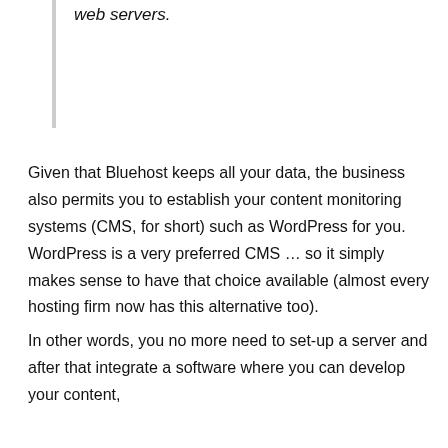web servers.
Given that Bluehost keeps all your data, the business also permits you to establish your content monitoring systems (CMS, for short) such as WordPress for you. WordPress is a very preferred CMS … so it simply makes sense to have that choice available (almost every hosting firm now has this alternative too).
In other words, you no more need to set-up a server and after that integrate a software where you can develop your content, individually. It is already rolled right into one bundle.
Is it safe to have Bluehost care for your sites?
Well … envision if your web server is in your house. If anything